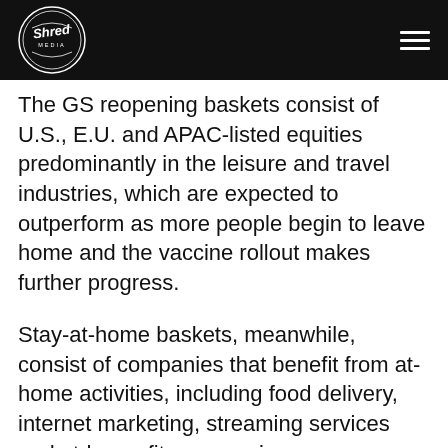[Figure (logo): Shred Media circular logo in white on black background]
The GS reopening baskets consist of U.S., E.U. and APAC-listed equities predominantly in the leisure and travel industries, which are expected to outperform as more people begin to leave home and the vaccine rollout makes further progress.
Stay-at-home baskets, meanwhile, consist of companies that benefit from at-home activities, including food delivery, internet marketing, streaming services and at-home fitness services.